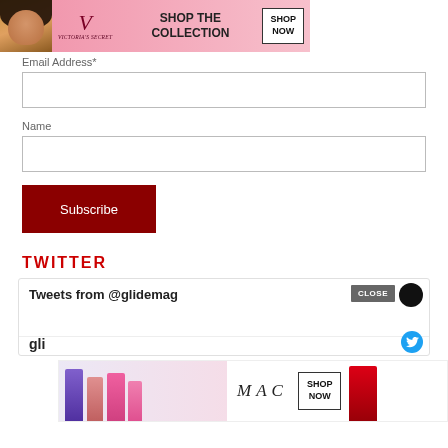[Figure (other): Victoria's Secret advertisement banner: shop the collection, shop now button, model photo on left]
Email Address*
Name
Subscribe
TWITTER
Tweets from @glidemag
[Figure (other): MAC Cosmetics advertisement banner showing lipsticks in purple, pink, and red with Shop Now button]